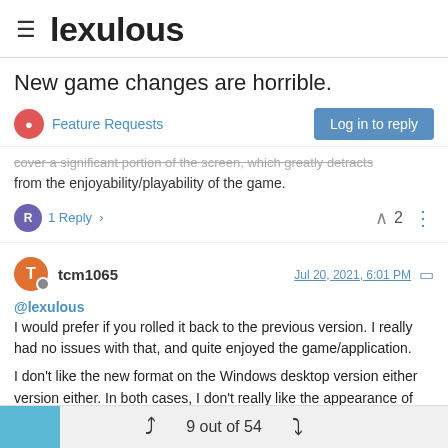lexulous
New game changes are horrible.
Feature Requests
cover a significant portion of the screen, which greatly detracts from the enjoyability/playability of the game.
1 Reply  2
tcm1065  Jul 20, 2021, 6:01 PM
@lexulous
I would prefer if you rolled it back to the previous version. I really had no issues with that, and quite enjoyed the game/application.
I don't like the new format on the Windows desktop version either version either. In both cases, I don't really like the appearance of the board, compared to the previous version. Also, the apparent
9 out of 54